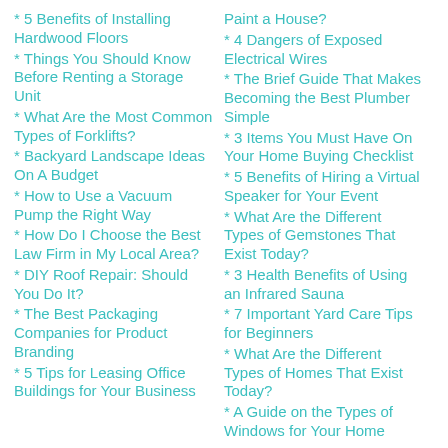* 5 Benefits of Installing Hardwood Floors
* Things You Should Know Before Renting a Storage Unit
* What Are the Most Common Types of Forklifts?
* Backyard Landscape Ideas On A Budget
* How to Use a Vacuum Pump the Right Way
* How Do I Choose the Best Law Firm in My Local Area?
* DIY Roof Repair: Should You Do It?
* The Best Packaging Companies for Product Branding
* 5 Tips for Leasing Office Buildings for Your Business
* Paint a House?
* 4 Dangers of Exposed Electrical Wires
* The Brief Guide That Makes Becoming the Best Plumber Simple
* 3 Items You Must Have On Your Home Buying Checklist
* 5 Benefits of Hiring a Virtual Speaker for Your Event
* What Are the Different Types of Gemstones That Exist Today?
* 3 Health Benefits of Using an Infrared Sauna
* 7 Important Yard Care Tips for Beginners
* What Are the Different Types of Homes That Exist Today?
* A Guide on the Types of Windows for Your Home